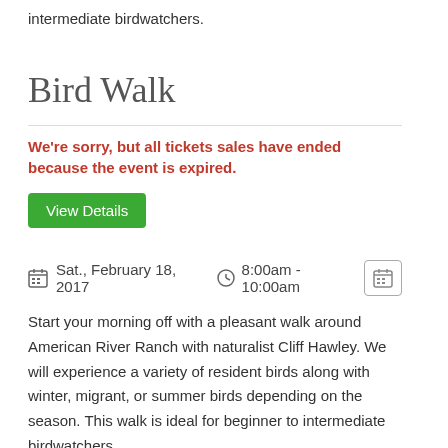intermediate birdwatchers.
Bird Walk
We're sorry, but all tickets sales have ended because the event is expired.
View Details
Sat., February 18, 2017   8:00am - 10:00am
Start your morning off with a pleasant walk around American River Ranch with naturalist Cliff Hawley. We will experience a variety of resident birds along with winter, migrant, or summer birds depending on the season. This walk is ideal for beginner to intermediate birdwatchers.
Bird Walk